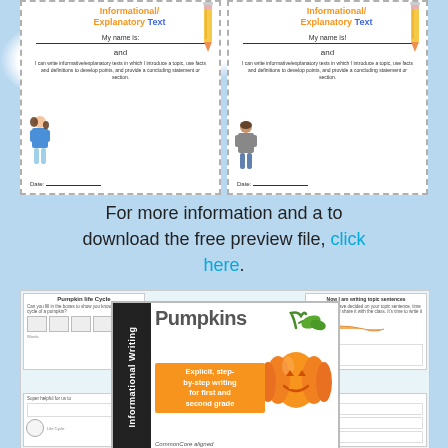[Figure (illustration): Two side-by-side student writing certificate cards with 'Informational/Explanatory Text' headers in orange and blue, with student figures (girl and boy), name lines, date lines, and ability statements about informative/explanatory writing.]
For more information and a to download the free preview file, click here.
[Figure (illustration): Educational product preview showing a 'Pumpkins Informational Writing' book cover with a large orange pumpkin illustration, surrounded by worksheet preview panels. The book cover text reads 'Pumpkins', 'Informational Writing', 'Explicit, step-by-step writing for first and second grade', 'Common Core aligned'. Side panels show Pumpkin life cycle and writing worksheets.]